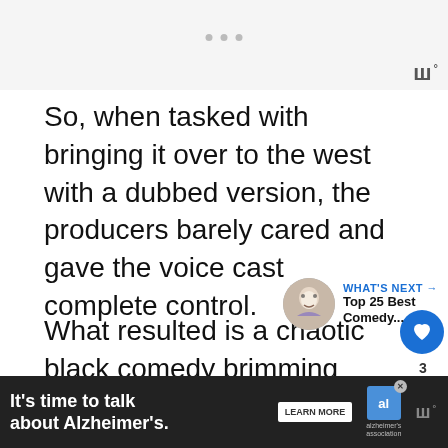[Figure (screenshot): Top gray bar with navigation dots and site logo (stylized W with degree symbol)]
So, when tasked with bringing it over to the west with a dubbed version, the producers barely cared and gave the voice cast complete control.
What resulted is a chaotic black comedy brimming with jokes and irreverence, made for adults with everything else retained.
It's a golden gem of an anime, palatable only
[Figure (screenshot): Bottom advertisement bar: It's time to talk about Alzheimer's. LEARN MORE button. Alzheimer's Association logo. Site logo W.]